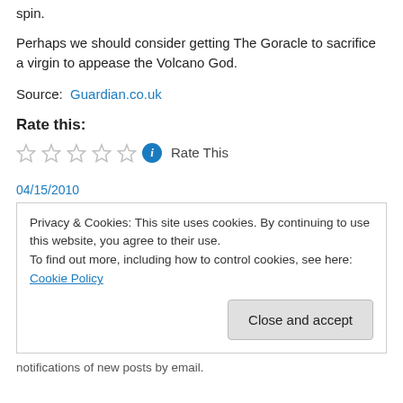spin.
Perhaps we should consider getting The Goracle to sacrifice a virgin to appease the Volcano God.
Source: Guardian.co.uk
Rate this:
Rate This
04/15/2010
Privacy & Cookies: This site uses cookies. By continuing to use this website, you agree to their use. To find out more, including how to control cookies, see here: Cookie Policy
notifications of new posts by email.